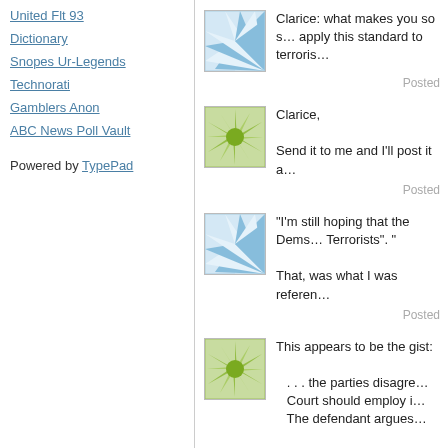United Flt 93
Dictionary
Snopes Ur-Legends
Technorati
Gamblers Anon
ABC News Poll Vault
Powered by TypePad
Clarice: what makes you so s… apply this standard to terroris…
Posted
Clarice,
Send it to me and I'll post it a…
Posted
"I'm still hoping that the Dems… Terrorists". "

That, was what I was referen…
Posted
This appears to be the gist:

. . . the parties disagre…
Court should employ i…
The defendant argues…